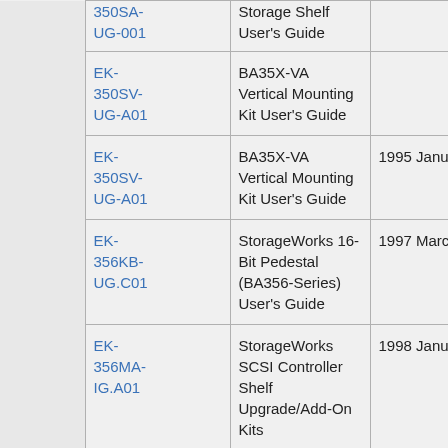|  | Document ID | Title | Date |
| --- | --- | --- | --- |
|  | 350SA-UG-001 | Storage Shelf User's Guide |  |
|  | EK-350SV-UG-A01 | BA35X-VA Vertical Mounting Kit User's Guide |  |
|  | EK-350SV-UG-A01 | BA35X-VA Vertical Mounting Kit User's Guide | 1995 January |
|  | EK-356KB-UG.C01 | StorageWorks 16-Bit Pedestal (BA356-Series) User's Guide | 1997 March |
|  | EK-356MA-IG.A01 | StorageWorks SCSI Controller Shelf Upgrade/Add-On Kits | 1998 January |